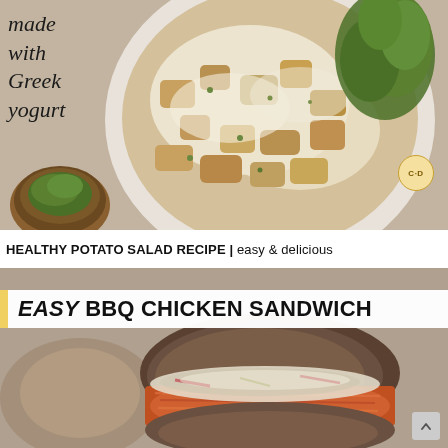[Figure (photo): Overhead shot of a creamy potato salad on a white plate with fresh parsley garnish and a small wooden bowl of herbs. Text overlay on the left reads 'made with Greek yogurt' in italic serif font. A small C+D badge is visible in the lower right of the image.]
HEALTHY POTATO SALAD RECIPE | easy & delicious
[Figure (photo): Close-up photo of an Easy BBQ Chicken Sandwich on a whole grain bun filled with pulled BBQ chicken and coleslaw. A banner overlay reads 'EASY BBQ CHICKEN SANDWICH' in bold black font with a yellow accent stripe on the left.]